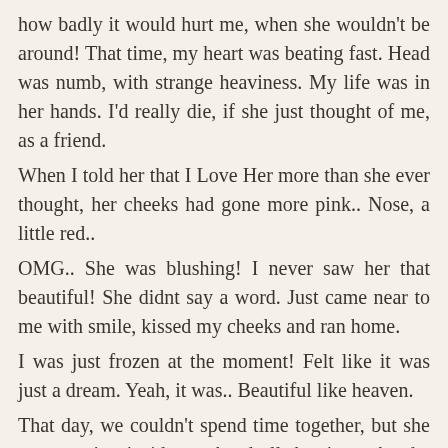how badly it would hurt me, when she wouldn't be around! That time, my heart was beating fast. Head was numb, with strange heaviness. My life was in her hands. I'd really die, if she just thought of me, as a friend.
When I told her that I Love Her more than she ever thought, her cheeks had gone more pink.. Nose, a little red..
OMG.. She was blushing! I never saw her that beautiful! She didnt say a word. Just came near to me with smile, kissed my cheeks and ran home.
I was just frozen at the moment! Felt like it was just a dream. Yeah, it was.. Beautiful like heaven.
That day, we couldn't spend time together, but she was running inside my head all the time.. As she always did. But I was damn happy to have her for real now.
Next day, I went to her. But, BINGO! Her home was locked. I dint see her at school also.